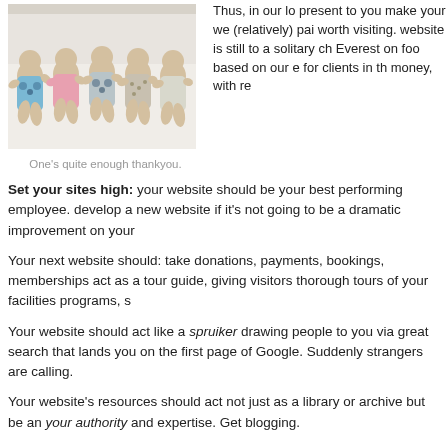[Figure (photo): Five babies lying in a row on a white surface, dressed in various outfits]
One's quite enough thankyou.
Thus, in our lo present to you make your we (relatively) pai worth visiting. website is still to a solitary ch Everest on foo based on our e for clients in th money, with re
Set your sites high: your website should be your best performing employee. develop a new website if it's not going to be a dramatic improvement on your
Your next website should: take donations, payments, bookings, memberships act as a tour guide, giving visitors thorough tours of your facilities programs, s
Your website should act like a spruiker drawing people to you via great search that lands you on the first page of Google. Suddenly strangers are calling.
Your website's resources should act not just as a library or archive but be an your authority and expertise. Get blogging.
A your website should act with a direct to a close a relationship